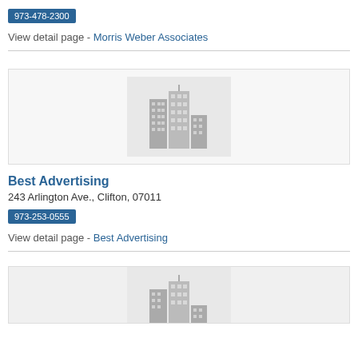973-478-2300
View detail page - Morris Weber Associates
[Figure (illustration): Generic building/office icon with grey skyscrapers on light grey background]
Best Advertising
243 Arlington Ave., Clifton, 07011
973-253-0555
View detail page - Best Advertising
[Figure (illustration): Generic building/office icon with grey skyscrapers on light grey background (partially visible)]